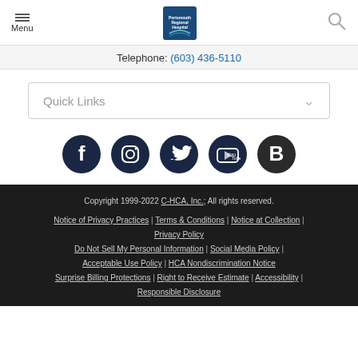Menu | Portsmouth Regional Hospital logo | Search
Telephone: (603) 436-5110
Quick Links
[Figure (infographic): Five social media icon circles: Facebook, Instagram, Twitter, YouTube, Blogger]
Copyright 1999-2022 C-HCA, Inc.; All rights reserved. | Notice of Privacy Practices | Terms & Conditions | Notice at Collection | Privacy Policy | Do Not Sell My Personal Information | Social Media Policy | Acceptable Use Policy | HCA Nondiscrimination Notice | Surprise Billing Protections | Right to Receive Estimate | Accessibility | Responsible Disclosure